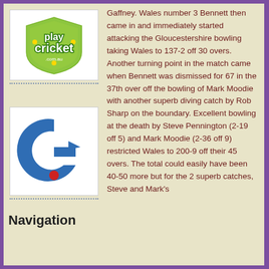[Figure (logo): Play Cricket logo - green shield shape with 'play cricket' text and .com.au]
[Figure (logo): Gloucestershire Cricket logo - blue G shape with red cricket ball dot]
Gaffney. Wales number 3 Bennett then came in and immediately started attacking the Gloucestershire bowling taking Wales to 137-2 off 30 overs. Another turning point in the match came when Bennett was dismissed for 67 in the 37th over off the bowling of Mark Moodie with another superb diving catch by Rob Sharp on the boundary. Excellent bowling at the death by Steve Pennington (2-19 off 5) and Mark Moodie (2-36 off 9) restricted Wales to 200-9 off their 45 overs. The total could easily have been 40-50 more but for the 2 superb catches, Steve and Mark's
Navigation